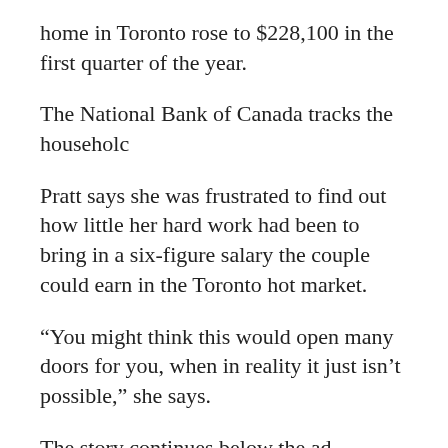home in Toronto rose to $228,100 in the first quarter of the year.
The National Bank of Canada tracks the householc
Pratt says she was frustrated to find out how little her hard work had been to bring in a six-figure salary the couple could earn in the Toronto hot market.
“You might think this would open many doors for you, when in reality it just isn’t possible,” she says.
The story continues below the ad
The couple are willing to adjust expectations and are looking at home properties in the $700,000